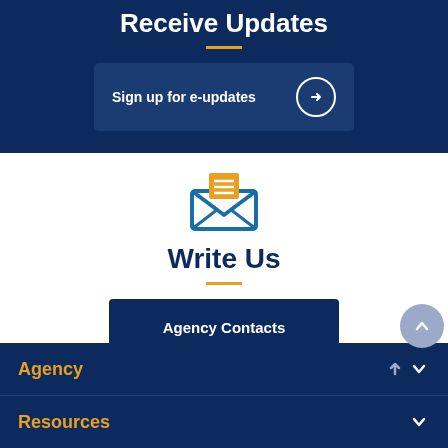Receive Updates
Sign up for e-updates
[Figure (illustration): Envelope icon with letter inside, in gold and blue colors]
Write Us
Agency Contacts
Agency
Resources